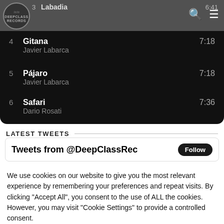[Figure (screenshot): Mobile app header with DeepClass Records logo, search icon, and menu icon. Shows partially visible track row 3 Labadia 6:41 and track row 4 Gitana 7:18.]
5   Pájaro   7:18
    Javier Labarca
6   Safari   7:36
    Dario Rosati
LATEST TWEETS
[Figure (screenshot): Twitter widget showing 'Tweets from @DeepClassRec' with a Follow button]
We use cookies on our website to give you the most relevant experience by remembering your preferences and repeat visits. By clicking "Accept All", you consent to the use of ALL the cookies. However, you may visit "Cookie Settings" to provide a controlled consent.
Cookie Settings
Accept All